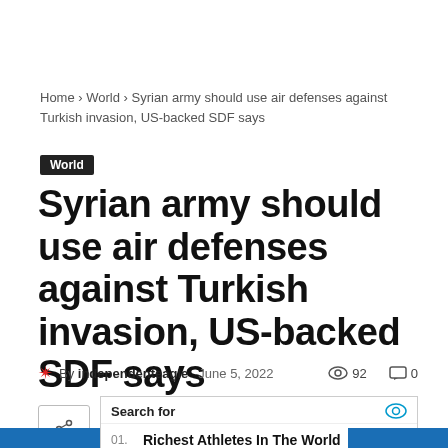Home › World › Syrian army should use air defenses against Turkish invasion, US-backed SDF says
World
Syrian army should use air defenses against Turkish invasion, US-backed SDF says
By independenteagle   June 5, 2022   👁 92   💬 0
Search for   01. Richest Athletes In The World   02. Local Sports Updates   Yahoo! Search | Sponsored